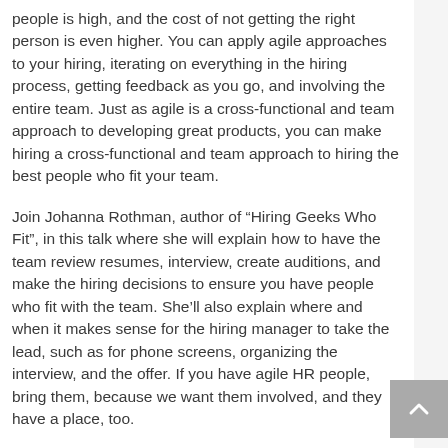people is high, and the cost of not getting the right person is even higher. You can apply agile approaches to your hiring, iterating on everything in the hiring process, getting feedback as you go, and involving the entire team. Just as agile is a cross-functional and team approach to developing great products, you can make hiring a cross-functional and team approach to hiring the best people who fit your team.
Join Johanna Rothman, author of “Hiring Geeks Who Fit”, in this talk where she will explain how to have the team review resumes, interview, create auditions, and make the hiring decisions to ensure you have people who fit with the team. She’ll also explain where and when it makes sense for the hiring manager to take the lead, such as for phone screens, organizing the interview, and the offer. If you have agile HR people, bring them, because we want them involved, and they have a place, too.
Register: